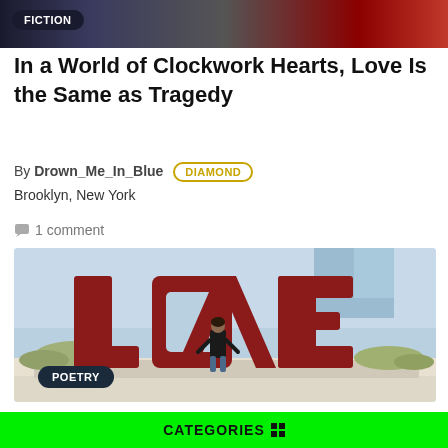[Figure (photo): Top banner image with dark and red tones, partially showing faces/text, with a FICTION badge overlay]
In a World of Clockwork Hearts, Love Is the Same as Tragedy
By Drown_Me_In_Blue DIAMOND
Brooklyn, New York
1 comment
[Figure (photo): Photo of a person standing inside the LOVE sculpture by Robert Indiana, with desert landscape in the background. A POETRY badge overlays the bottom left.]
I'm falling